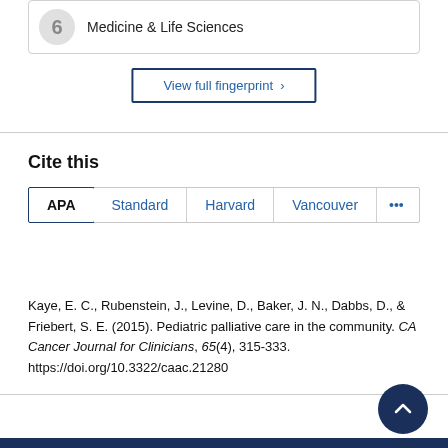Medicine & Life Sciences
View full fingerprint ›
Cite this
APA | Standard | Harvard | Vancouver | ...
Kaye, E. C., Rubenstein, J., Levine, D., Baker, J. N., Dabbs, D., & Friebert, S. E. (2015). Pediatric palliative care in the community. CA Cancer Journal for Clinicians, 65(4), 315-333. https://doi.org/10.3322/caac.21280